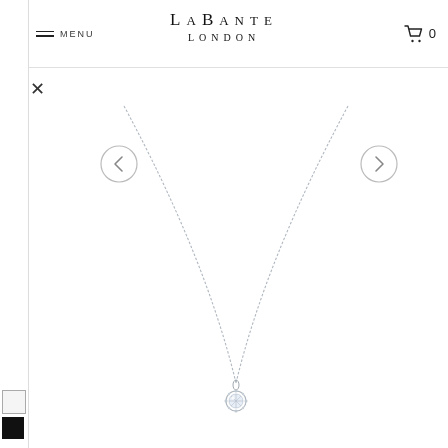MENU   LABANTE LONDON   0
[Figure (photo): A silver necklace with a delicate chain forming a V-shape, featuring a diamond-like crystal snowflake or solitaire pendant at the bottom center, displayed on a white background. Navigation arrows (left and right) are visible on either side. A close (X) button is visible on the upper left.]